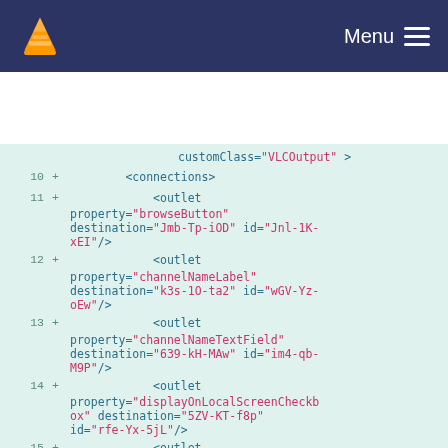VLC Menu
[Figure (screenshot): VLC media player navigation bar with orange cone logo and Menu hamburger icon on dark blue background]
customClass="VLCOutput" >
10 + <connections>
11 +   <outlet property="browseButton" destination="Jmb-Tp-iOD" id="Jnl-1K-xEI"/>
12 +   <outlet property="channelNameLabel" destination="k3s-1O-ta2" id="wGV-Yz-oEw"/>
13 +   <outlet property="channelNameTextField" destination="639-kH-MAw" id="im4-qb-M9P"/>
14 +   <outlet property="displayOnLocalScreenCheckbox" destination="5ZV-KT-f8p" id="rfe-Yx-5jL"/>
15 +   <outlet property="dumpCheckbox"